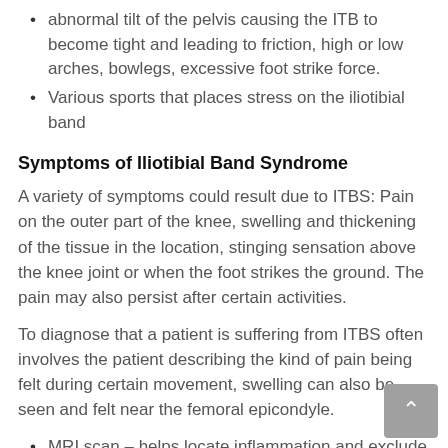abnormal tilt of the pelvis causing the ITB to become tight and leading to friction, high or low arches, bowlegs, excessive foot strike force.
Various sports that places stress on the iliotibial band
Symptoms of Iliotibial Band Syndrome
A variety of symptoms could result due to ITBS: Pain on the outer part of the knee, swelling and thickening of the tissue in the location, stinging sensation above the knee joint or when the foot strikes the ground. The pain may also persist after certain activities.
To diagnose that a patient is suffering from ITBS often involves the patient describing the kind of pain being felt during certain movement, swelling can also be seen and felt near the femoral epicondyle.
MRI scan – helps locate inflammation and exclude other causes of outer knee pain